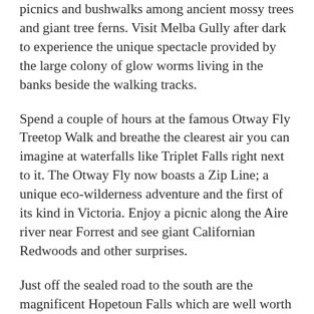picnics and bushwalks among ancient mossy trees and giant tree ferns. Visit Melba Gully after dark to experience the unique spectacle provided by the large colony of glow worms living in the banks beside the walking tracks.
Spend a couple of hours at the famous Otway Fly Treetop Walk and breathe the clearest air you can imagine at waterfalls like Triplet Falls right next to it. The Otway Fly now boasts a Zip Line; a unique eco-wilderness adventure and the first of its kind in Victoria. Enjoy a picnic along the Aire river near Forrest and see giant Californian Redwoods and other surprises.
Just off the sealed road to the south are the magnificent Hopetoun Falls which are well worth